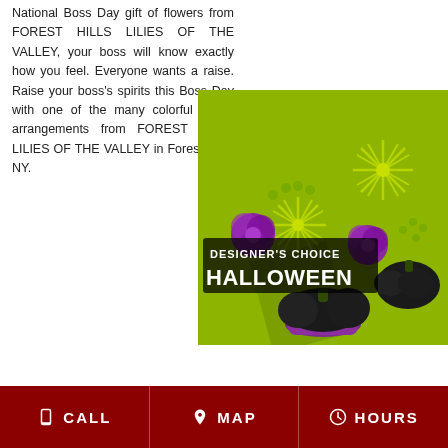National Boss Day gift of flowers from FOREST HILLS LILIES OF THE VALLEY, your boss will know exactly how you feel. Everyone wants a raise. Raise your boss's spirits this Boss Day with one of the many colorful flower arrangements from FOREST HILLS LILIES OF THE VALLEY in Forest Hills, NY.
[Figure (photo): A Halloween flower arrangement labeled 'Designer's Choice Halloween' featuring green spider mums, purple carnations, black decorative pumpkins, green berries, and a purple vase on a lime green background.]
CALL   MAP   HOURS